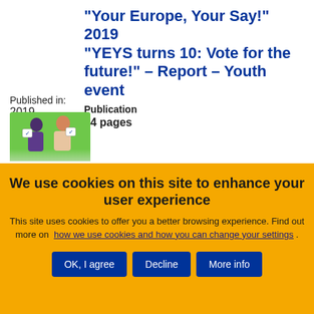"Your Europe, Your Say!" 2019 "YEYS turns 10: Vote for the future!" – Report – Youth event
Publication
24 pages
Published in:
2019
[Figure (photo): Cover image of YEYS turns 10 publication showing two young people on a green background holding voting cards, with EU flag and text at bottom]
We use cookies on this site to enhance your user experience
This site uses cookies to offer you a better browsing experience. Find out more on how we use cookies and how you can change your settings .
OK, I agree
Decline
More info